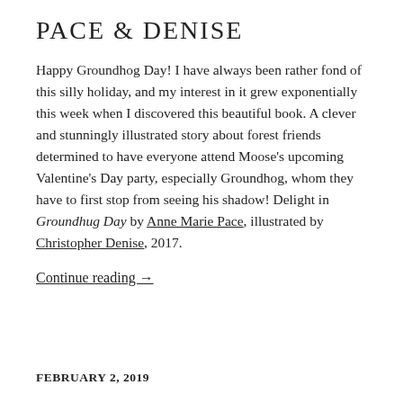PACE & DENISE
Happy Groundhog Day! I have always been rather fond of this silly holiday, and my interest in it grew exponentially this week when I discovered this beautiful book. A clever and stunningly illustrated story about forest friends determined to have everyone attend Moose's upcoming Valentine's Day party, especially Groundhog, whom they have to first stop from seeing his shadow! Delight in Groundhug Day by Anne Marie Pace, illustrated by Christopher Denise, 2017.
Continue reading →
FEBRUARY 2, 2019